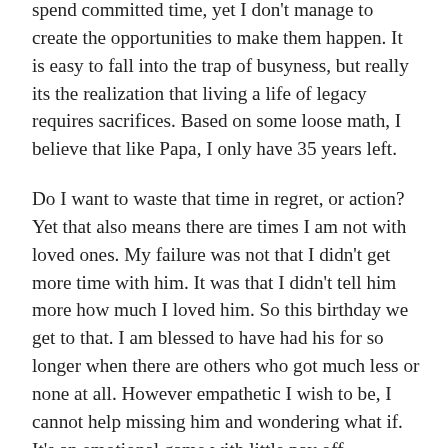spend committed time, yet I don't manage to create the opportunities to make them happen. It is easy to fall into the trap of busyness, but really its the realization that living a life of legacy requires sacrifices. Based on some loose math, I believe that like Papa, I only have 35 years left.
Do I want to waste that time in regret, or action? Yet that also means there are times I am not with loved ones. My failure was not that I didn't get more time with him. It was that I didn't tell him more how much I loved him. So this birthday we get to that. I am blessed to have had his for so longer when there are others who got much less or none at all. However empathetic I wish to be, I cannot help missing him and wondering what if. It's an emotional game with little pay off.
Thinking back, Papa lived a life of legacy. His upcoming birthday where so many will be generously donating their